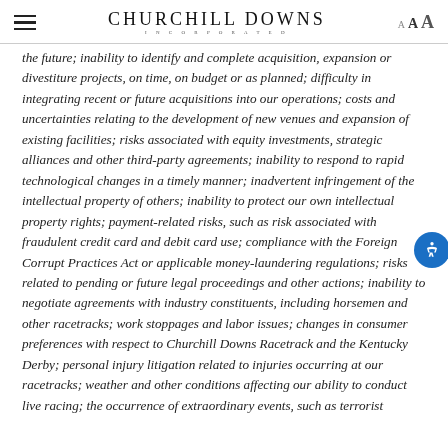Churchill Downs Incorporated — A A A
the future; inability to identify and complete acquisition, expansion or divestiture projects, on time, on budget or as planned; difficulty in integrating recent or future acquisitions into our operations; costs and uncertainties relating to the development of new venues and expansion of existing facilities; risks associated with equity investments, strategic alliances and other third-party agreements; inability to respond to rapid technological changes in a timely manner; inadvertent infringement of the intellectual property of others; inability to protect our own intellectual property rights; payment-related risks, such as risk associated with fraudulent credit card and debit card use; compliance with the Foreign Corrupt Practices Act or applicable money-laundering regulations; risks related to pending or future legal proceedings and other actions; inability to negotiate agreements with industry constituents, including horsemen and other racetracks; work stoppages and labor issues; changes in consumer preferences with respect to Churchill Downs Racetrack and the Kentucky Derby; personal injury litigation related to injuries occurring at our racetracks; weather and other conditions affecting our ability to conduct live racing; the occurrence of extraordinary events, such as terrorist